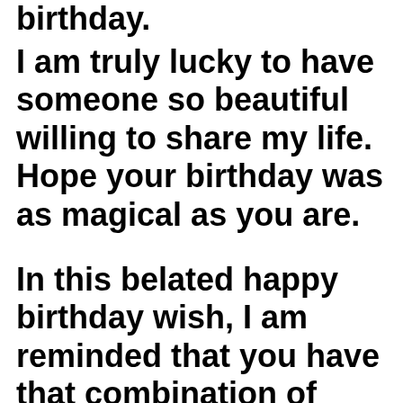birthday.
I am truly lucky to have someone so beautiful willing to share my life. Hope your birthday was as magical as you are.
In this belated happy birthday wish, I am reminded that you have that combination of qualities I find absolutely irresistible. There's never